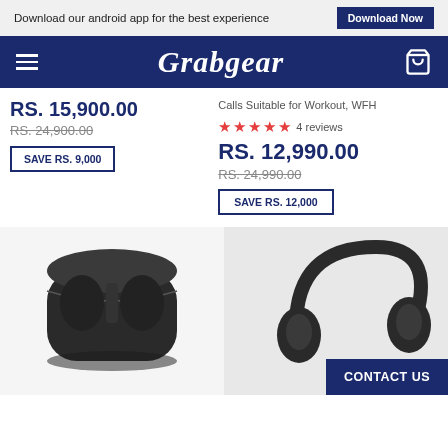Download our android app for the best experience  Download Now
Grabgear
RS. 15,900.00
RS. 24,900.00
SAVE RS. 9,000
Calls Suitable for Workout, WFH
4 reviews
RS. 12,990.00
RS. 24,990.00
SAVE RS. 12,000
[Figure (photo): TWS earbuds in open charging case, dark grey/black]
[Figure (photo): Over-ear headphones, dark grey/black]
CONTACT US